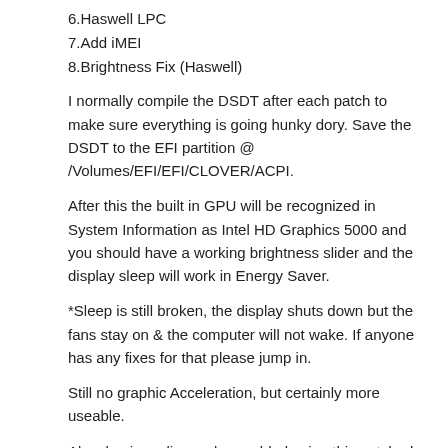6.Haswell LPC
7.Add iMEI
8.Brightness Fix (Haswell)
I normally compile the DSDT after each patch to make sure everything is going hunky dory. Save the DSDT to the EFI partition @ /Volumes/EFI/EFI/CLOVER/ACPI.
After this the built in GPU will be recognized in System Information as Intel HD Graphics 5000 and you should have a working brightness slider and the display sleep will work in Energy Saver.
*Sleep is still broken, the display shuts down but the fans stay on & the computer will not wake. If anyone has any fixes for that please jump in.
Still no graphic Acceleration, but certainly more useable.
Also, basic audio can be enabled using this patched AppleHDA with a DSDT to set the layout ID to "3"